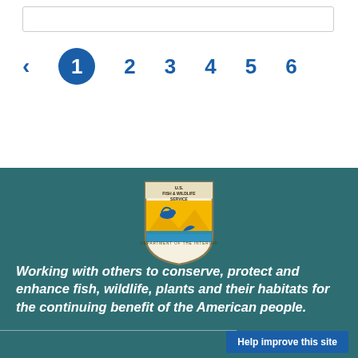[Figure (screenshot): Search bar input field]
[Figure (infographic): Pagination navigation with left arrow and page numbers 1 (active/highlighted), 2, 3, 4, 5, 6]
[Figure (logo): U.S. Fish & Wildlife Service shield logo with duck and fish imagery]
Working with others to conserve, protect and enhance fish, wildlife, plants and their habitats for the continuing benefit of the American people.
Help improve this site